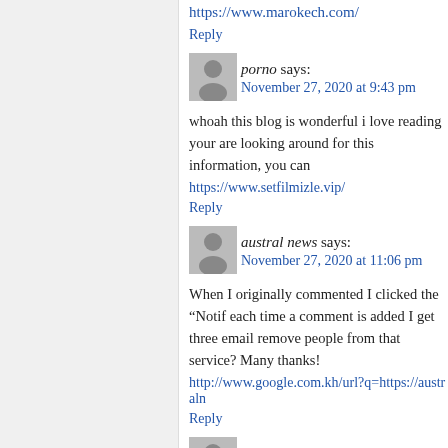https://www.marokech.com/
Reply
[Figure (illustration): Gray avatar icon of a person silhouette]
porno says:
November 27, 2020 at 9:43 pm
whoah this blog is wonderful i love reading your are looking around for this information, you can
https://www.setfilmizle.vip/
Reply
[Figure (illustration): Gray avatar icon of a person silhouette]
austral news says:
November 27, 2020 at 11:06 pm
When I originally commented I clicked the “Notif each time a comment is added I get three email remove people from that service? Many thanks!
http://www.google.com.kh/url?q=https://australn
Reply
[Figure (illustration): Gray avatar icon of a person silhouette]
Altha Gertken says: